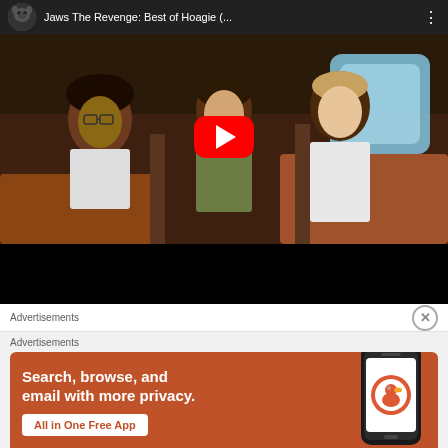[Figure (screenshot): YouTube video player showing 'Jaws The Revenge: Best of Hoagie (...' with three actors seated in a plane/vehicle interior. Red YouTube play button overlay in center. Black bar at bottom of player.]
Advertisements
[Figure (screenshot): DuckDuckGo advertisement banner with orange background. Text reads: 'Search, browse, and email with more privacy. All in One Free App'. Shows a phone mockup with DuckDuckGo logo and 'DuckDuckGo.' branding.]